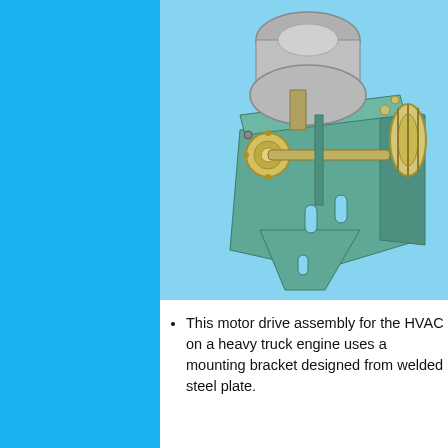[Figure (engineering-diagram): 3D CAD rendering of a motor drive assembly for an HVAC system mounted on a heavy truck engine. The assembly shows a cylindrical motor (gray), green-colored welded steel plate bracket/mounting structure, gears/pulleys (yellow/tan), and a belt drive system. The background is light blue.]
This motor drive assembly for the HVAC on a heavy truck engine uses a mounting bracket designed from welded steel plate.